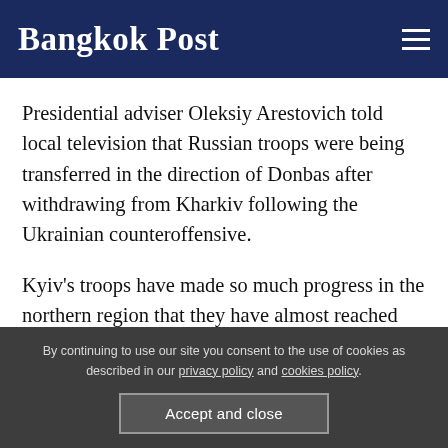Bangkok Post
Presidential adviser Oleksiy Arestovich told local television that Russian troops were being transferred in the direction of Donbas after withdrawing from Kharkiv following the Ukrainian counteroffensive.
Kyiv's troops have made so much progress in the northern region that they have almost reached the border with Russia, according to interior ministry
By continuing to use our site you consent to the use of cookies as described in our privacy policy and cookies policy.
Accept and close